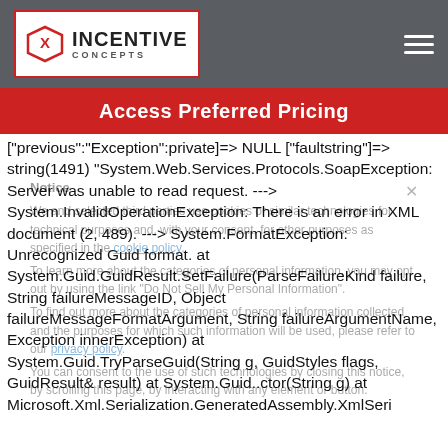INCENTIVE CONCEPTS — Access Preferred Pricing
["previous":"Exception":private]=> NULL ["faultstring"]=> string(1491) "System.Web.Services.Protocols.SoapException: Server was unable to read request. ---> System.InvalidOperationException: There is an error in XML document (2, 489). ---> System.FormatException: Unrecognized Guid format. at System.Guid.GuidResult.SetFailure(ParseFailureKind failure, String failureMessageID, Object failureMessageFormatArgument, String failureArgumentName, Exception innerException) at System.Guid.TryParseGuid(String g, GuidStyles flags, GuidResult& result) at System.Guid..ctor(String g) at Microsoft.Xml.Serialization.GeneratedAssembly.XmlSeri